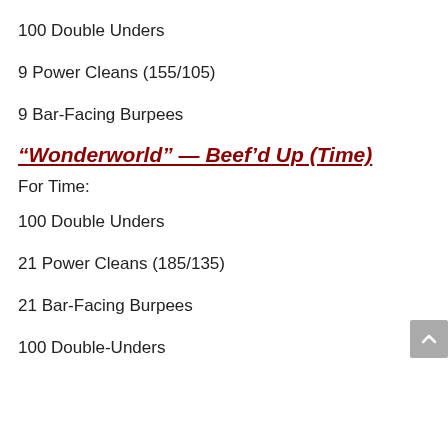100 Double Unders
9 Power Cleans (155/105)
9 Bar-Facing Burpees
“Wonderworld” — Beef’d Up (Time)
For Time:
100 Double Unders
21 Power Cleans (185/135)
21 Bar-Facing Burpees
100 Double-Unders